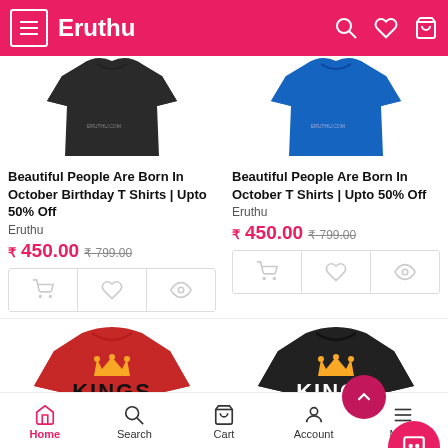Eruthu
[Figure (photo): Black t-shirt product image for Beautiful People Are Born In October Birthday T Shirts]
Beautiful People Are Born In October Birthday T Shirts | Upto 50% Off
Eruthu
₹ 450.00  ₹ 799.00
[Figure (photo): Blue t-shirt product image for Beautiful People Are Born In October T Shirts]
Beautiful People Are Born In October T Shirts | Upto 50% Off
Eruthu
₹ 450.00  ₹ 799.00
[Figure (photo): Red t-shirt with Kings Are Born In November text]
[Figure (photo): Black t-shirt with Kings Are Born In November text]
Home  Search  Cart  Account  Menu